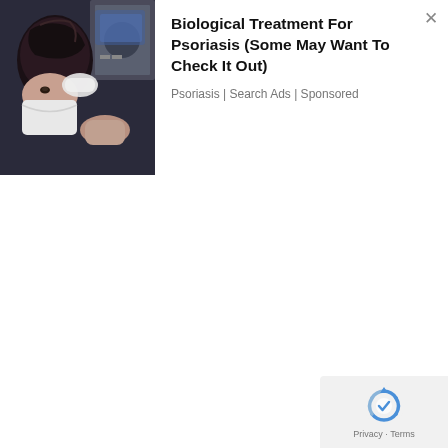[Figure (photo): Photo of a person getting hair/scalp treatment, dark background with medical/salon setting]
Biological Treatment For Psoriasis (Some May Want To Check It Out)
Psoriasis | Search Ads | Sponsored
[Figure (logo): Google reCAPTCHA logo with Privacy and Terms text]